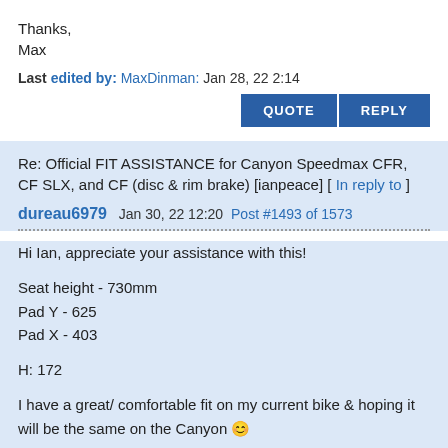Thanks,
Max
Last edited by: MaxDinman: Jan 28, 22 2:14
Re: Official FIT ASSISTANCE for Canyon Speedmax CFR, CF SLX, and CF (disc & rim brake) [ianpeace] [ In reply to ]
dureau6979  Jan 30, 22 12:20  Post #1493 of 1573
Hi Ian, appreciate your assistance with this!

Seat height - 730mm
Pad Y - 625
Pad X - 403

H: 172

I have a great/ comfortable fit on my current bike & hoping it will be the same on the Canyon 😊